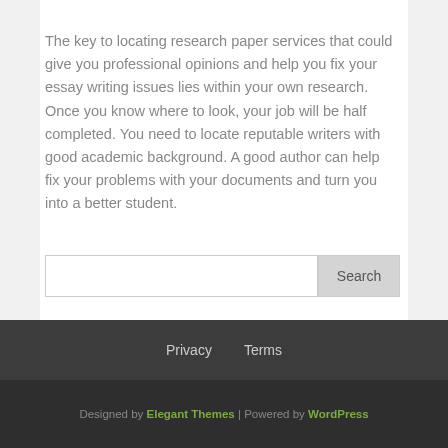The key to locating research paper services that could give you professional opinions and help you fix your essay writing issues lies within your own research. Once you know where to look, your job will be half completed. You need to locate reputable writers with good academic background. A good author can help fix your problems with your documents and turn you into a better student.
Privacy   Terms
Designed by Elegant Themes | Powered by WordPress